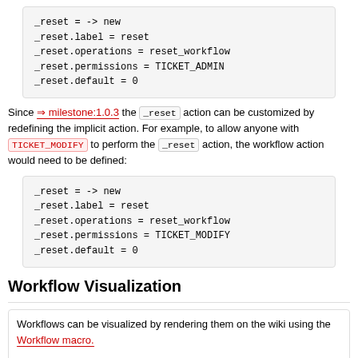_reset = -> new
_reset.label = reset
_reset.operations = reset_workflow
_reset.permissions = TICKET_ADMIN
_reset.default = 0
Since milestone:1.0.3 the _reset action can be customized by redefining the implicit action. For example, to allow anyone with TICKET_MODIFY to perform the _reset action, the workflow action would need to be defined:
_reset = -> new
_reset.label = reset
_reset.operations = reset_workflow
_reset.permissions = TICKET_MODIFY
_reset.default = 0
Workflow Visualization
Workflows can be visualized by rendering them on the wiki using the Workflow macro.
Workflows can also be visualized using the contrib/workflow/workflow_parser.py script. The script outputs .dot files that GraphViz understands. The script can be used as follows (your install path may be different):